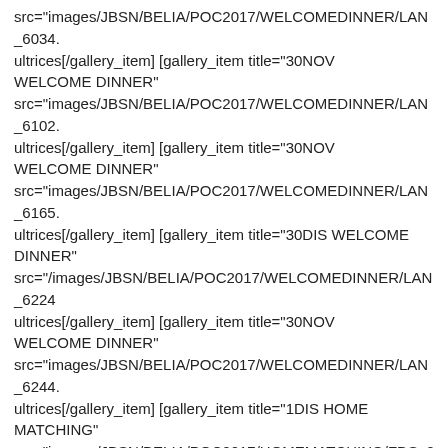src="images/JBSN/BELIA/POC2017/WELCOMEDINNER/LAN_6034.
ultrices[/gallery_item] [gallery_item title="30NOV WELCOME DINNER" src="images/JBSN/BELIA/POC2017/WELCOMEDINNER/LAN_6102.
ultrices[/gallery_item] [gallery_item title="30NOV WELCOME DINNER" src="images/JBSN/BELIA/POC2017/WELCOMEDINNER/LAN_6165.
ultrices[/gallery_item] [gallery_item title="30DIS WELCOME DINNER" src="/images/JBSN/BELIA/POC2017/WELCOMEDINNER/LAN_6224
ultrices[/gallery_item] [gallery_item title="30NOV WELCOME DINNER" src="images/JBSN/BELIA/POC2017/WELCOMEDINNER/LAN_6244.
ultrices[/gallery_item] [gallery_item title="1DIS HOME MATCHING" src="images/JBSN/BELIA/POC2017/HOMEMATCHING/FDS_2734.J
ultrices[/gallery_item] [gallery_item title="1DIS HOME MATCHING" src="images/JBSN/BELIA/POC2017/HOMEMATCHING/FDS_2760.J
ultrices[/gallery_item] [gallery_item title="1DIS HOME MATCHING" src="images/JBSN/BELIA/POC2017/HOMEMATCHING/FAMILY-